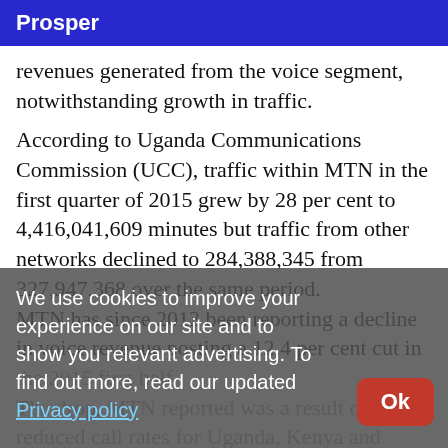Prosper
revenues generated from the voice segment, notwithstanding growth in traffic.
According to Uganda Communications Commission (UCC), traffic within MTN in the first quarter of 2015 grew by 28 per cent to 4,416,041,609 minutes but traffic from other networks declined to 284,388,345 from 327,947,368 over the same period. MTN has since 2013 been reporting a decline in voice revenue posting a 12.4 per cent cut in the 2015 first half.
The drop, MTN reported was a result of reduced call rates for Uganda, Kenya and Rwanda.
We use cookies to improve your experience on our site and to show you relevant advertising. To find out more, read our updated Privacy policy